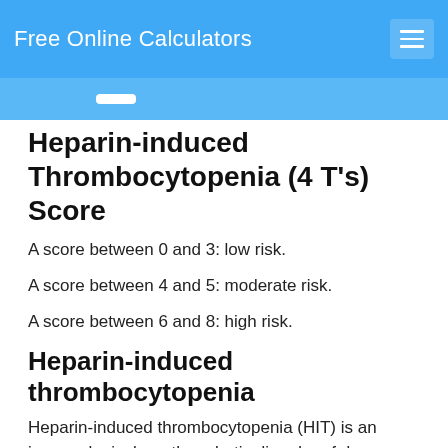Free Online Calculators
Heparin-induced Thrombocytopenia (4 T's) Score
A score between 0 and 3: low risk.
A score between 4 and 5: moderate risk.
A score between 6 and 8: high risk.
Heparin-induced thrombocytopenia
Heparin-induced thrombocytopenia (HIT) is an immunological pro-thrombotic disorder of drug origin, associated with thrombocytopenia, and venous and/or arterial thrombosis.
HIT can develop at any age (>3 months), but pediatric